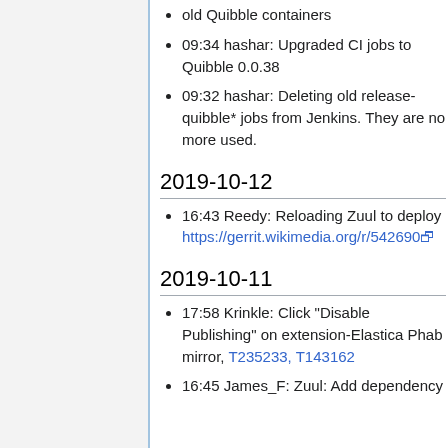old Quibble containers
09:34 hashar: Upgraded CI jobs to Quibble 0.0.38
09:32 hashar: Deleting old release-quibble* jobs from Jenkins. They are no more used.
2019-10-12
16:43 Reedy: Reloading Zuul to deploy https://gerrit.wikimedia.org/r/542690
2019-10-11
17:58 Krinkle: Click "Disable Publishing" on extension-Elastica Phab mirror, T235233, T143162
16:45 James_F: Zuul: Add dependency